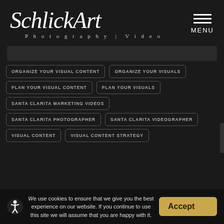[Figure (logo): SchlickArt Photography | Video logo in white italic serif font on dark background]
MENU
[Figure (other): Search bar input field with dark background]
ORGANIZE YOUR VISUAL CONTENT
ORGANIZE YOUR VISUALS
PLAN YOUR VISUAL CONTENT
PLAN YOUR VISUALS
SANTA CLARITA MARKETING VIDEOS
SANTA CLARITA PHOTOGRAPHER
SANTA CLARITA VIDEOGRAPHER
VISUAL CONTENT
VISUAL CONTENT STRATEGY
We use cookies to ensure that we give you the best experience on our website. If you continue to use this site we will assume that you are happy with it.
Accept